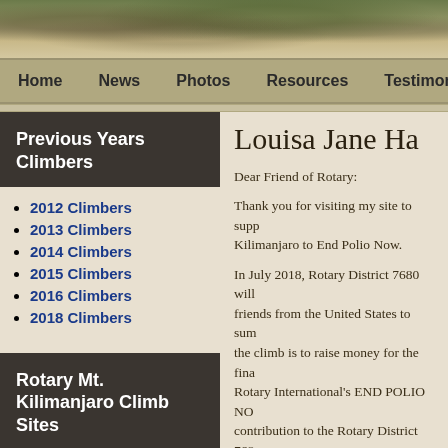[Figure (photo): Mountain landscape header photo showing rocky terrain with vegetation]
Home  News  Photos  Resources  Testimonials
Previous Years Climbers
2012 Climbers
2013 Climbers
2014 Climbers
2015 Climbers
2016 Climbers
2018 Climbers
Rotary Mt. Kilimanjaro Climb Sites
Louisa Jane Ha
Dear Friend of Rotary:
Thank you for visiting my site to supp Kilimanjaro to End Polio Now.
In July 2018, Rotary District 7680 will friends from the United States to sum the climb is to raise money for the fina Rotary International's END POLIO NO contribution to the Rotary District 768
Since 1988, Rotary International and face of the earth. A volunteer service Rotary began immunizing children ag